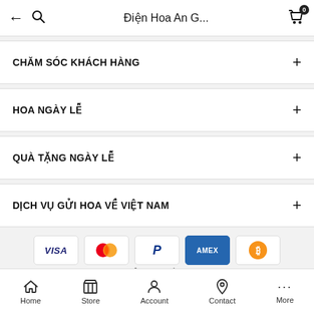Điện Hoa An G...
CHĂM SÓC KHÁCH HÀNG
HOA NGÀY LỄ
QUÀ TẶNG NGÀY LỄ
DỊCH VỤ GỬI HOA VỀ VIỆT NAM
[Figure (infographic): Payment method icons: VISA, Mastercard, PayPal, AMEX, Bitcoin]
© 2022 GỬI HOA VỀ VIỆT NAM
Home | Store | Account | Contact | More